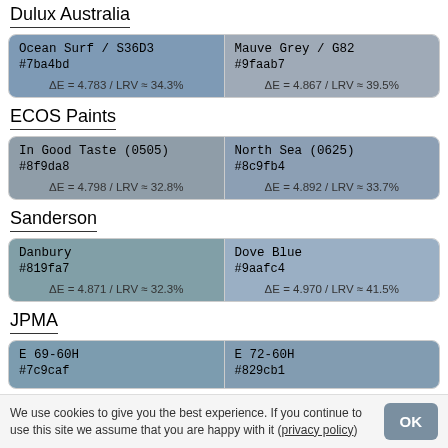Dulux Australia
| Color 1 | Color 2 |
| --- | --- |
| Ocean Surf / S36D3
#7ba4bd
ΔE = 4.783 / LRV ≈ 34.3% | Mauve Grey / G82
#9faab7
ΔE = 4.867 / LRV ≈ 39.5% |
ECOS Paints
| Color 1 | Color 2 |
| --- | --- |
| In Good Taste (0505)
#8f9da8
ΔE = 4.798 / LRV ≈ 32.8% | North Sea (0625)
#8c9fb4
ΔE = 4.892 / LRV ≈ 33.7% |
Sanderson
| Color 1 | Color 2 |
| --- | --- |
| Danbury
#819fa7
ΔE = 4.871 / LRV ≈ 32.3% | Dove Blue
#9aafc4
ΔE = 4.970 / LRV ≈ 41.5% |
JPMA
| Color 1 | Color 2 |
| --- | --- |
| E 69-60H
#7c9caf | E 72-60H
#829cb1 |
We use cookies to give you the best experience. If you continue to use this site we assume that you are happy with it (privacy policy)